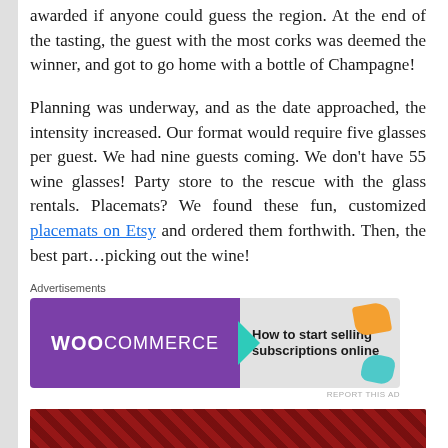awarded if anyone could guess the region. At the end of the tasting, the guest with the most corks was deemed the winner, and got to go home with a bottle of Champagne!
Planning was underway, and as the date approached, the intensity increased. Our format would require five glasses per guest. We had nine guests coming. We don't have 55 wine glasses! Party store to the rescue with the glass rentals. Placemats? We found these fun, customized placemats on Etsy and ordered them forthwith. Then, the best part…picking out the wine!
[Figure (screenshot): WooCommerce advertisement banner: purple background with WooCommerce logo on left, teal arrow shape, and text 'How to start selling subscriptions online' on grey right panel with orange and teal decorative shapes]
[Figure (photo): Bottom partial image showing a dark red/crimson patterned background, appears to be a food or party table photo]